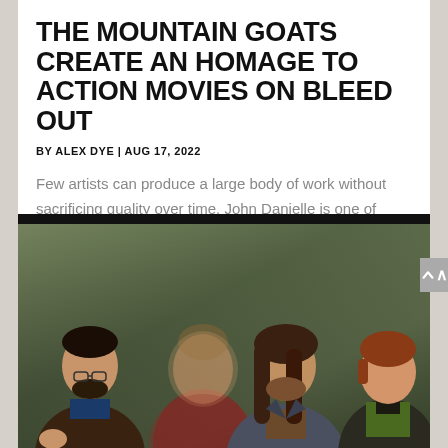THE MOUNTAIN GOATS CREATE AN HOMAGE TO ACTION MOVIES ON BLEED OUT
BY ALEX DYE | AUG 17, 2022
Few artists can produce a large body of work without sacrificing quality over time. John Danielle is one of those people who can continue to create...
[Figure (photo): Band photo of The Mountain Goats showing four members standing against a textured green/grey wall. From left: a man in brown jacket with glasses, a blurred figure in red jacket, a man with long brown hair in grey jacket, and a man with reddish hair in green shirt.]